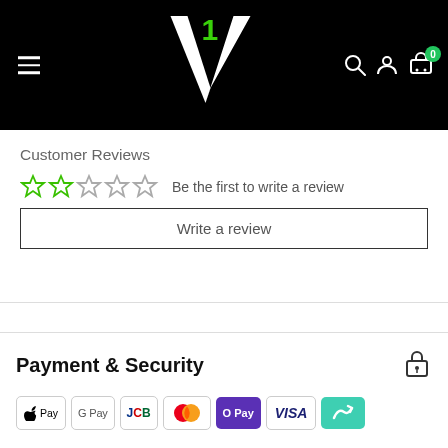[Figure (logo): V1 brand logo in white and green on black header bar with hamburger menu, search, account, and cart icons]
Customer Reviews
Be the first to write a review
Write a review
Payment & Security
[Figure (other): Payment method logos: Apple Pay, Google Pay, JCB, Mastercard, O Pay, Visa, and a teal badge with arrow icon]